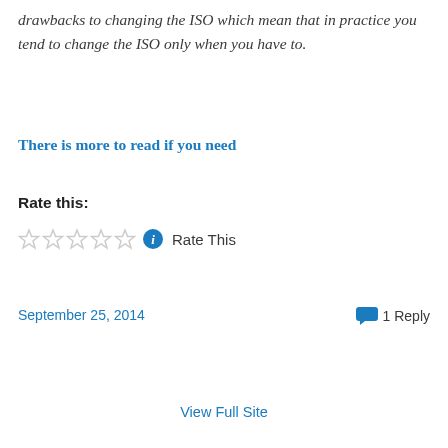drawbacks to changing the ISO which mean that in practice you tend to change the ISO only when you have to.
There is more to read if you need
Rate this:
[Figure (other): Five empty star rating widgets followed by a blue info icon and the text 'Rate This']
September 25, 2014
1 Reply
View Full Site